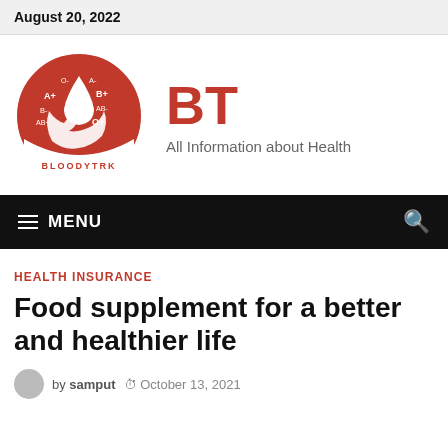August 20, 2022
[Figure (logo): Bloodytrk circular logo with blood drop and hand, showing blood type labels A+, A-, B+, B-, AB+, AB-, O+, O- in red and white]
BT
All Information about Health
≡ MENU
HEALTH INSURANCE
Food supplement for a better and healthier life
by samput   October 13, 2021